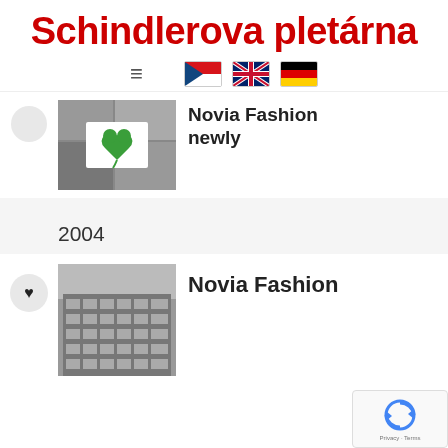Schindlerova pletárna
[Figure (screenshot): Navigation bar with hamburger menu icon and Czech, UK, German flag icons]
Novia Fashion newly
[Figure (photo): Black and white collage of architectural images with green heart logo in center]
2004
Novia Fashion
[Figure (photo): Black and white photo of a modernist building facade with large windows]
[Figure (other): reCAPTCHA widget with Privacy and Terms links]